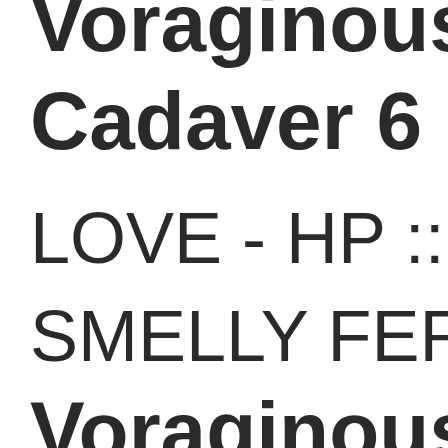Voraginous A
Cadaver 6 :: S
LOVE - HP :: K
SMELLY FER
Voraginous A
Cadaver 7 :: C